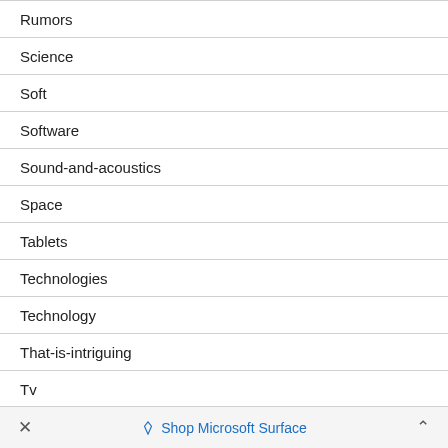Rumors
Science
Soft
Software
Sound-and-acoustics
Space
Tablets
Technologies
Technology
That-is-intriguing
Tv
Weapons
× Shop Microsoft Surface ^